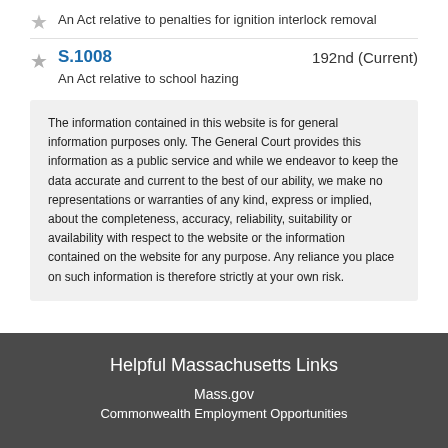An Act relative to penalties for ignition interlock removal
S.1008
192nd (Current)
An Act relative to school hazing
The information contained in this website is for general information purposes only. The General Court provides this information as a public service and while we endeavor to keep the data accurate and current to the best of our ability, we make no representations or warranties of any kind, express or implied, about the completeness, accuracy, reliability, suitability or availability with respect to the website or the information contained on the website for any purpose. Any reliance you place on such information is therefore strictly at your own risk.
Helpful Massachusetts Links
Mass.gov
Commonwealth Employment Opportunities